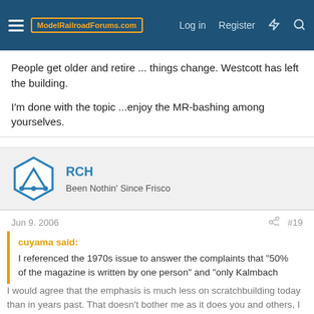ModelRailroadForums.com — Log in  Register
People get older and retire ... things change. Westcott has left the building.

I'm done with the topic ...enjoy the MR-bashing among yourselves.
RCH
Been Nothin' Since Frisco
Jun 9, 2006  #19
cuyama said:
I referenced the 1970s issue to answer the complaints that "50% of the magazine is written by one person" and "only Kalmbach employees can be published in MR".
I would agree that the emphasis is much less on scratchbuilding today than in years past. That doesn't bother me as it does you and others, I understand. To each his own. It was more of a necessity then